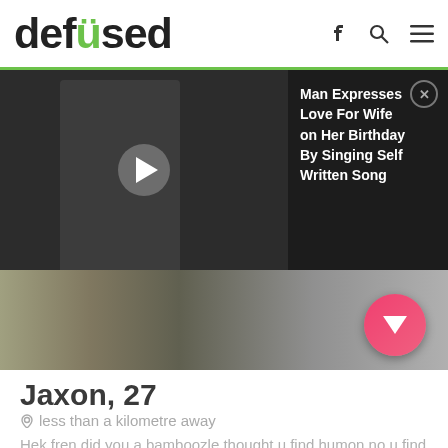defused
[Figure (screenshot): Screenshot of a video player showing a man in a white shirt with a dark restaurant background, overlaid with an advertisement for 'Man Expresses Love For Wife on Her Birthday By Singing Self Written Song', plus a pink/red arrow-down button.]
Jaxon, 27
less than a kilometre away
Hek fren did you a bamboozle thought u find humon no u find doggo now pls do a right swiping
Am good boy luv long walks and long games of catch very freindly wont do you a friten